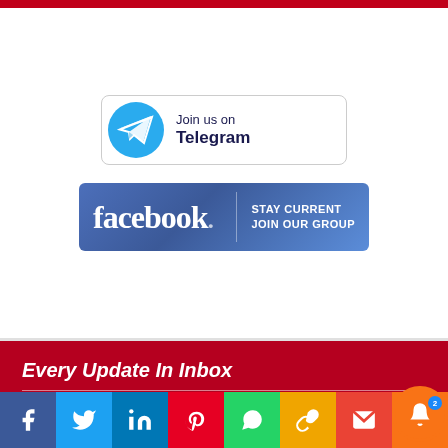[Figure (logo): Telegram 'Join us on Telegram' button with blue circle icon and paper plane]
[Figure (logo): Facebook 'Stay Current Join Our Group' blue banner button]
Every Update In Inbox
Email
Subscribe
[Figure (infographic): Social media share bar: Facebook, Twitter, LinkedIn, Pinterest, WhatsApp, Share, Mail, Bell notification]